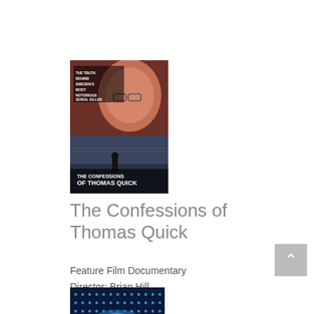[Figure (photo): Movie poster for 'The Confessions of Thomas Quick' showing a man's face at top with text 'THE TRUTH BEHIND SWEDEN'S MOST NOTORIOUS SERIAL KILLER' and a silhouette of a person at the bottom]
The Confessions of Thomas Quick
Feature Film Documentary
Director: Brian Hill
Music: Nainita Desai
Credit: Mix Original Theme Song
2015
[Figure (photo): Partial view of a second movie/album poster with dark blue background and dot grid pattern]